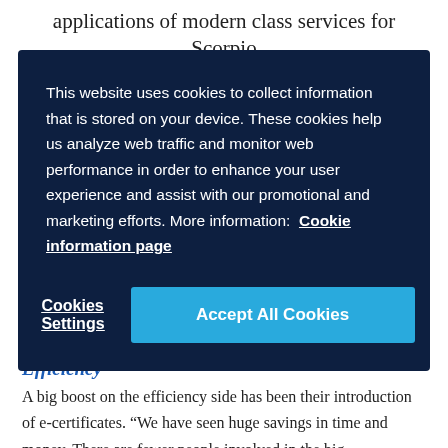applications of modern class services for Scorpio
This website uses cookies to collect information that is stored on your device. These cookies help us analyze web traffic and monitor web performance in order to enhance your user experience and assist with our promotional and marketing efforts. More information: Cookie information page
Cookies Settings
Accept All Cookies
Efficiency
A big boost on the efficiency side has been their introduction of e-certificates. “We have seen huge savings in time and money. There are fewer people involved in the big transactions, and very